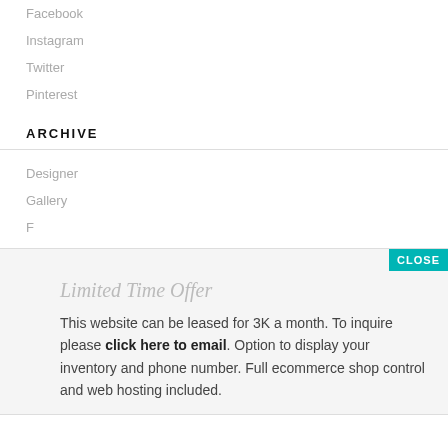Facebook
Instagram
Twitter
Pinterest
ARCHIVE
Designer
Gallery
Limited Time Offer
This website can be leased for 3K a month. To inquire please click here to email. Option to display your inventory and phone number. Full ecommerce shop control and web hosting included.